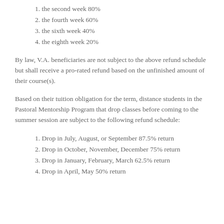1. the second week 80%
2. the fourth week 60%
3. the sixth week 40%
4. the eighth week 20%
By law, V.A. beneficiaries are not subject to the above refund schedule but shall receive a pro-rated refund based on the unfinished amount of their course(s).
Based on their tuition obligation for the term, distance students in the Pastoral Mentorship Program that drop classes before coming to the summer session are subject to the following refund schedule:
1. Drop in July, August, or September 87.5% return
2. Drop in October, November, December 75% return
3. Drop in January, February, March 62.5% return
4. Drop in April, May 50% return